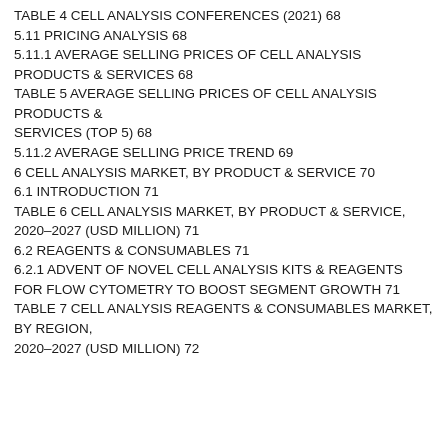TABLE 4 CELL ANALYSIS CONFERENCES (2021) 68
5.11 PRICING ANALYSIS 68
5.11.1 AVERAGE SELLING PRICES OF CELL ANALYSIS PRODUCTS & SERVICES 68
TABLE 5 AVERAGE SELLING PRICES OF CELL ANALYSIS PRODUCTS & SERVICES (TOP 5) 68
5.11.2 AVERAGE SELLING PRICE TREND 69
6 CELL ANALYSIS MARKET, BY PRODUCT & SERVICE 70
6.1 INTRODUCTION 71
TABLE 6 CELL ANALYSIS MARKET, BY PRODUCT & SERVICE, 2020–2027 (USD MILLION) 71
6.2 REAGENTS & CONSUMABLES 71
6.2.1 ADVENT OF NOVEL CELL ANALYSIS KITS & REAGENTS FOR FLOW CYTOMETRY TO BOOST SEGMENT GROWTH 71
TABLE 7 CELL ANALYSIS REAGENTS & CONSUMABLES MARKET, BY REGION, 2020–2027 (USD MILLION) 72